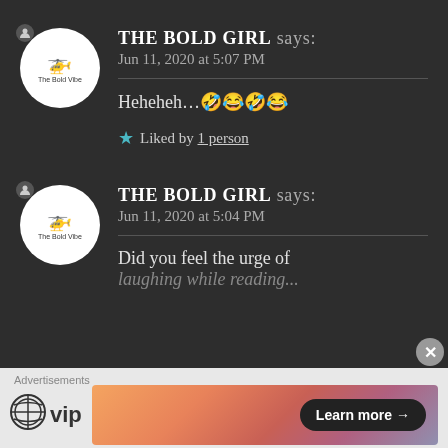THE BOLD GIRL says: Jun 11, 2020 at 5:07 PM
Heheheh…🤣😂🤣😂
★ Liked by 1 person
THE BOLD GIRL says: Jun 11, 2020 at 5:04 PM
Did you feel the urge of
Advertisements
[Figure (logo): WordPress VIP logo and advertisement banner with Learn more button]